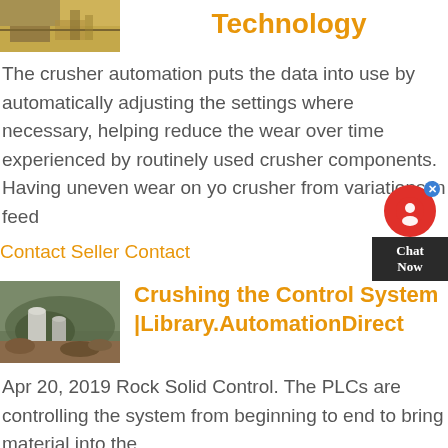[Figure (photo): Partial view of industrial machinery/crusher equipment at top left]
Technology
The crusher automation puts the data into use by automatically adjusting the settings where necessary, helping reduce the wear over time experienced by routinely used crusher components. Having uneven wear on yo crusher from variations in feed
Contact Seller Contact
[Figure (photo): Aerial or wide shot of a rock crushing facility with industrial equipment in a quarry or mining site]
Crushing the Control System |Library.AutomationDirect
Apr 20, 2019 Rock Solid Control. The PLCs are controlling the system from beginning to end to bring material into the